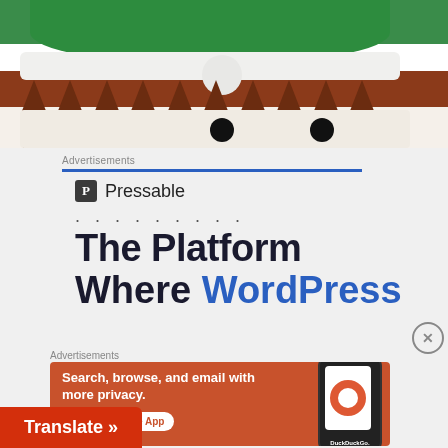[Figure (photo): A person wearing a green Santa hat over a novelty animal costume hat with brown triangular spikes and black eyes, close-up view]
Advertisements
[Figure (logo): Pressable logo — dark square icon with letter P followed by text 'Pressable', with dots below]
The Platform Where WordPress
Advertisements
[Figure (screenshot): DuckDuckGo advertisement banner on orange-red background: 'Search, browse, and email with more privacy. All in One Free App' with phone mockup showing DuckDuckGo logo]
Translate »